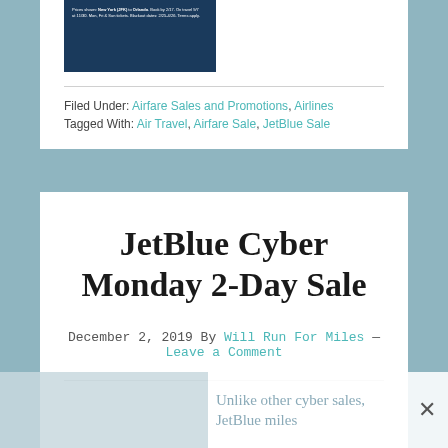[Figure (screenshot): JetBlue advertisement image showing flight deal text on dark navy background]
Filed Under: Airfare Sales and Promotions, Airlines
Tagged With: Air Travel, Airfare Sale, JetBlue Sale
JetBlue Cyber Monday 2-Day Sale
December 2, 2019 By Will Run For Miles — Leave a Comment
Unlike other cyber sales, JetBlue miles